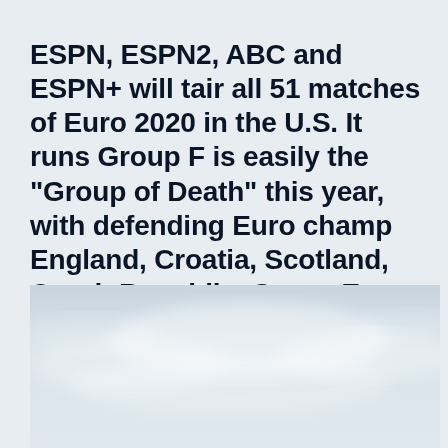ESPN, ESPN2, ABC and ESPN+ will tair all 51 matches of Euro 2020 in the U.S. It runs Group F is easily the “Group of Death” this year, with defending Euro champ England, Croatia, Scotland, Czech Republic. Group E
[Figure (photo): Sky photo — overcast pale blue-grey sky with soft clouds, cropped at bottom of page]